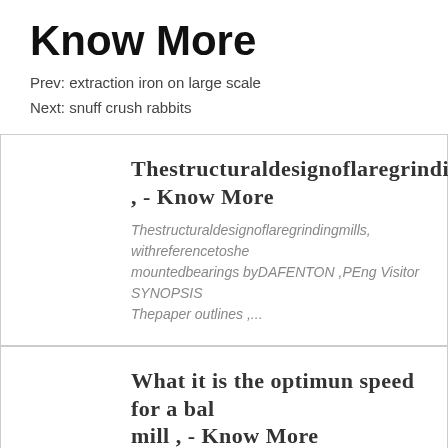Know More
Prev: extraction iron on large scale
Next: snuff crush rabbits
Thestructuraldesignoflaregrindingmills , - Know More
Thestructuraldesignoflaregrindingmills, withreferencetoshell mountedbearings byDAFENTON ,PEng Visitor SYNOPSIS Thepaper outlines ,...
What it is the optimun speed for a ball mill , - Know More
I have done a ball mill , recenly finished , but the motor has t roms, is too fast for use in a ball mill the pvc cylinder that i